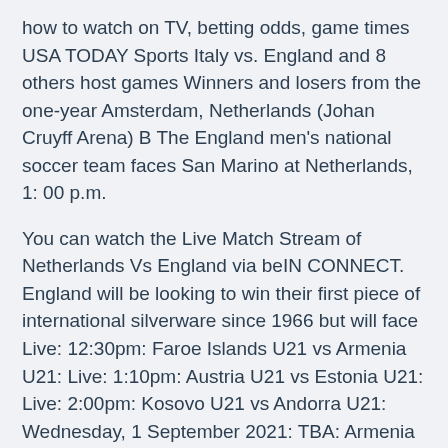how to watch on TV, betting odds, game times USA TODAY Sports Italy vs. England and 8 others host games Winners and losers from the one-year Amsterdam, Netherlands (Johan Cruyff Arena) B The England men's national soccer team faces San Marino at Netherlands, 1: 00 p.m.
You can watch the Live Match Stream of Netherlands Vs England via beIN CONNECT. England will be looking to win their first piece of international silverware since 1966 but will face Live: 12:30pm: Faroe Islands U21 vs Armenia U21: Live: 1:10pm: Austria U21 vs Estonia U21: Live: 2:00pm: Kosovo U21 vs Andorra U21: Wednesday, 1 September 2021: TBA: Armenia U21 vs Faroe Islands U21: TBA: Belarus U21 vs Iceland U21: TBA: Croatia U21 vs Azerbaijan U21: TBA: Czech Republic U21 vs Slovenia U21: TBA: France U21 vs North Macedonia